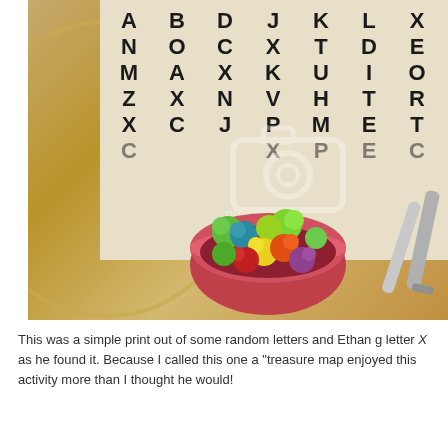[Figure (photo): A photo of a word search activity tray with random letters (A B D J K L X, N O C X T D E, M A X K U I O, Z X N V H T R, X C J P M E T, C X P E C etc.) on a beige card, a gold/clear plastic plate, a red bowl filled with colorful pom poms (green, teal, yellow, orange, red, purple), tweezers, and a Photobucket watermark overlay.]
This was a simple print out of some random letters and Ethan g letter X as he found it. Because I called this one a "treasure map enjoyed this activity more than I thought he would!